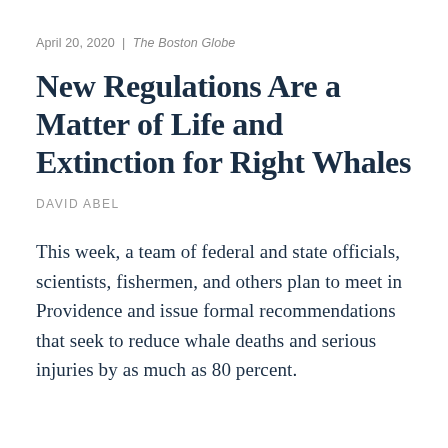April 20, 2020 | The Boston Globe
New Regulations Are a Matter of Life and Extinction for Right Whales
DAVID ABEL
This week, a team of federal and state officials, scientists, fishermen, and others plan to meet in Providence and issue formal recommendations that seek to reduce whale deaths and serious injuries by as much as 80 percent.